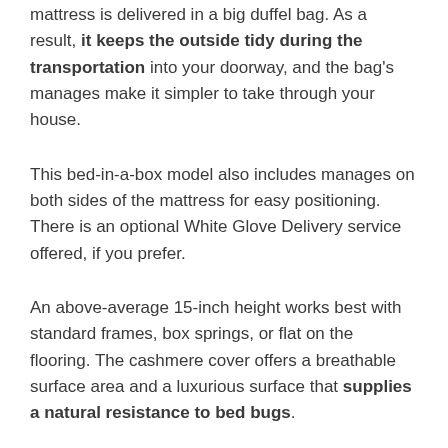mattress is delivered in a big duffel bag. As a result, it keeps the outside tidy during the transportation into your doorway, and the bag's manages make it simpler to take through your house.
This bed-in-a-box model also includes manages on both sides of the mattress for easy positioning. There is an optional White Glove Delivery service offered, if you prefer.
An above-average 15-inch height works best with standard frames, box springs, or flat on the flooring. The cashmere cover offers a breathable surface area and a luxurious surface that supplies a natural resistance to bed bugs.